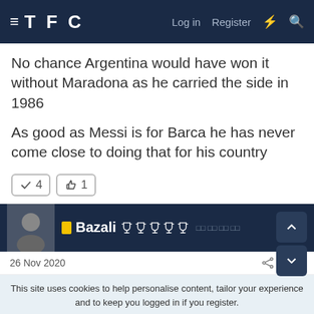TFC — Log in  Register
No chance Argentina would have won it without Maradona as he carried the side in 1986

As good as Messi is for Barca he has never come close to doing that for his country
✓ 4   👍 1
Bazali 🏆🏆🏆🏆🏆
26 Nov 2020   #269
This site uses cookies to help personalise content, tailor your experience and to keep you logged in if you register.
By continuing to use this site, you are consenting to our use of cookies.
✓ ACCEPT   LEARN MORE...